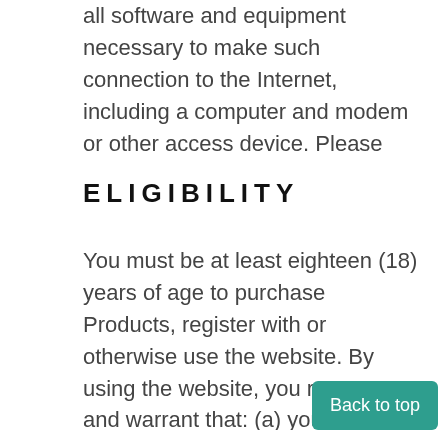all software and equipment necessary to make such connection to the Internet, including a computer and modem or other access device. Please print a copy of this document for your records. To retain an electronic copy of this Agreement, you may save it into any word processing program.
ELIGIBILITY
You must be at least eighteen (18) years of age to purchase Products, register with or otherwise use the website. By using the website, you represent and warrant that: (a) you have the right, authority and capacity to enter into this Agreement and to abide by all of the terms and conditions of this Agreement; (b)